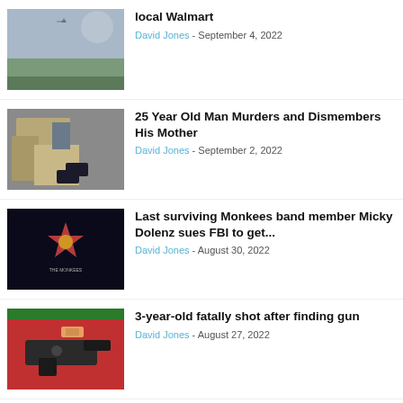local Walmart — David Jones - September 4, 2022
25 Year Old Man Murders and Dismembers His Mother — David Jones - September 2, 2022
Last surviving Monkees band member Micky Dolenz sues FBI to get... — David Jones - August 30, 2022
3-year-old fatally shot after finding gun — David Jones - August 27, 2022
Missing Mexican students kept...